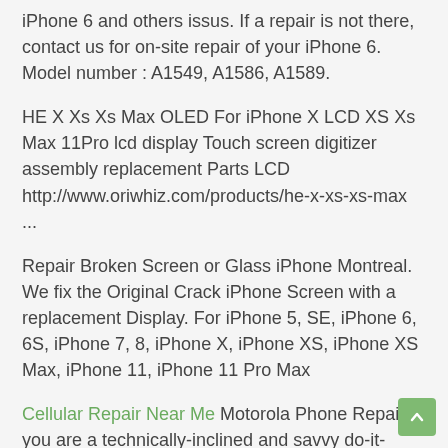iPhone 6 and others issus. If a repair is not there, contact us for on-site repair of your iPhone 6. Model number : A1549, A1586, A1589.
HE X Xs Xs Max OLED For iPhone X LCD XS Xs Max 11Pro lcd display Touch screen digitizer assembly replacement Parts LCD http://www.oriwhiz.com/products/he-x-xs-xs-max ...
Repair Broken Screen or Glass iPhone Montreal. We fix the Original Crack iPhone Screen with a replacement Display. For iPhone 5, SE, iPhone 6, 6S, iPhone 7, 8, iPhone X, iPhone XS, iPhone XS Max, iPhone 11, iPhone 11 Pro Max
Cellular Repair Near Me Motorola Phone Repair If you are a technically-inclined and savvy do-it-yourselfer, you can order an online repair kit from iFixit (www.ifixit.com). Most commonly used for screen or battery repairs, these kits include the necessary tools and genuine motorola parts to